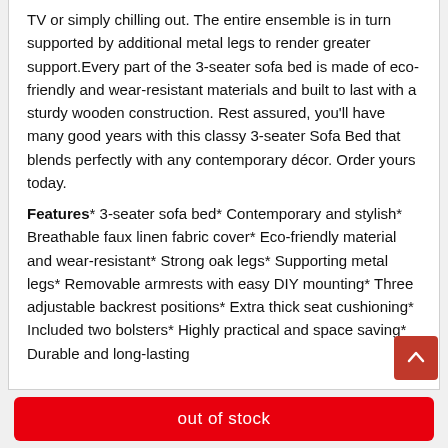TV or simply chilling out. The entire ensemble is in turn supported by additional metal legs to render greater support.Every part of the 3-seater sofa bed is made of eco-friendly and wear-resistant materials and built to last with a sturdy wooden construction. Rest assured, you'll have many good years with this classy 3-seater Sofa Bed that blends perfectly with any contemporary décor. Order yours today.
Features* 3-seater sofa bed* Contemporary and stylish* Breathable faux linen fabric cover* Eco-friendly material and wear-resistant* Strong oak legs* Supporting metal legs* Removable armrests with easy DIY mounting* Three adjustable backrest positions* Extra thick seat cushioning* Included two bolsters* Highly practical and space saving* Durable and long-lasting
out of stock